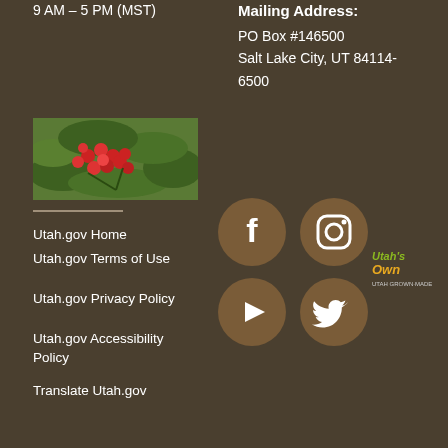9 AM – 5 PM (MST)
Mailing Address:
PO Box #146500
Salt Lake City, UT 84114-6500
[Figure (photo): Red berries on green leaves, close-up nature photo]
Utah.gov Home
Utah.gov Terms of Use
Utah.gov Privacy Policy
Utah.gov Accessibility Policy
Translate Utah.gov
[Figure (logo): Facebook icon (brown circle with white F)]
[Figure (logo): Instagram icon (brown circle with white camera)]
[Figure (logo): YouTube icon (brown circle with white play button)]
[Figure (logo): Twitter icon (brown circle with white bird)]
[Figure (logo): Utah's Own logo in green and yellow text]